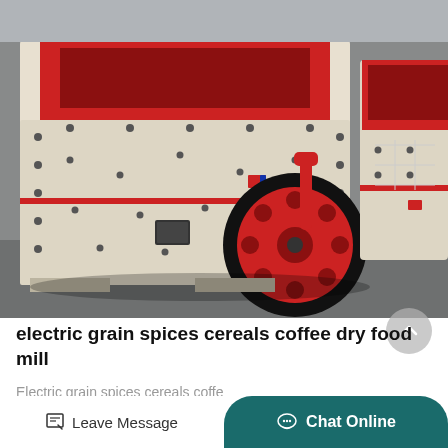[Figure (photo): Two large industrial impact crusher / hammer mill machines in cream/white and red colors, sitting outdoors on a concrete surface. The machines have large red-rimmed flywheels with black rubber tires, red-painted interior hoppers, and bolt-studded exterior panels.]
electric grain spices cereals coffee dry food mill
Electric grain spices cereals coffee dry food mill in di...
Leave Message
Chat Online